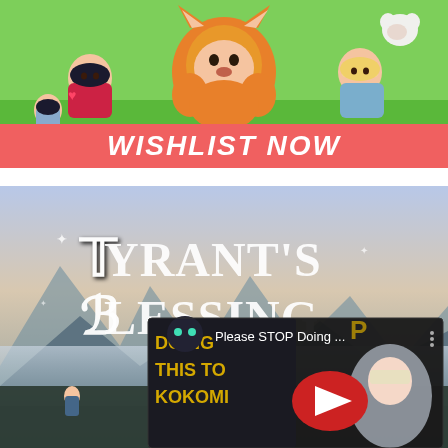[Figure (screenshot): Top banner image showing cartoon animal characters (fox/dog) with anime-style human characters on a green outdoor background, with a red/salmon colored bar at the bottom reading 'WISHLIST NOW' in bold white italic text.]
[Figure (screenshot): Bottom section showing 'Tyrant's Blessing' game title in ornate white lettering over a fantasy landscape background (mountains, fog, blue/purple sky), with a YouTube video overlay in the lower right showing a thumbnail titled 'Please STOP Doing ...' with text 'DOING THIS TO KOKOMI' visible, featuring a YouTube play button icon.]